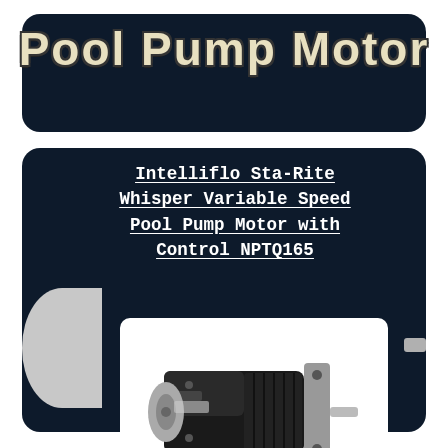Pool Pump Motor
Intelliflo Sta-Rite Whisper Variable Speed Pool Pump Motor with Control NPTQ165
[Figure (photo): Pool pump motor unit — black electric motor with mounting flange and cooling fins, shown at an angle on a white background. eBay watermark visible at bottom right.]